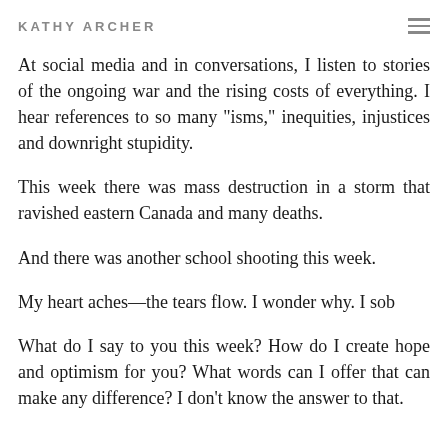KATHY ARCHER
At social media and in conversations, I listen to stories of the ongoing war and the rising costs of everything. I hear references to so many "isms," inequities, injustices and downright stupidity.
This week there was mass destruction in a storm that ravished eastern Canada and many deaths.
And there was another school shooting this week.
My heart aches—the tears flow. I wonder why. I sob
What do I say to you this week? How do I create hope and optimism for you? What words can I offer that can make any difference? I don't know the answer to that.